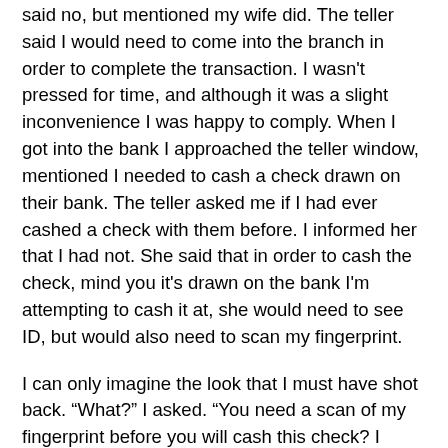said no, but mentioned my wife did. The teller said I would need to come into the branch in order to complete the transaction. I wasn't pressed for time, and although it was a slight inconvenience I was happy to comply. When I got into the bank I approached the teller window, mentioned I needed to cash a check drawn on their bank. The teller asked me if I had ever cashed a check with them before. I informed her that I had not. She said that in order to cash the check, mind you it's drawn on the bank I'm attempting to cash it at, she would need to see ID, but would also need to scan my fingerprint.
I can only imagine the look that I must have shot back. “What?” I asked. “You need a scan of my fingerprint before you will cash this check? I won't do that.” I guess I caught her by surprise based on her response, where she assured me that the only way they would cash the check is if I provided them with my fingerprint. I asked to speak with a manager, and the manager informed me of the same thing. It's bank policy, and no exceptions would be made. I asked to speak with her boss, who a little less